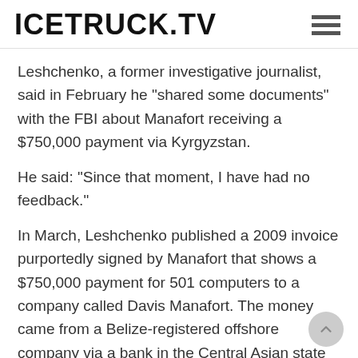ICETRUCK.TV
Leshchenko, a former investigative journalist, said in February he "shared some documents" with the FBI about Manafort receiving a $750,000 payment via Kyrgyzstan.
He said: "Since that moment, I have had no feedback."
In March, Leshchenko published a 2009 invoice purportedly signed by Manafort that shows a $750,000 payment for 501 computers to a company called Davis Manafort. The money came from a Belize-registered offshore company via a bank in the Central Asian state of Kyrgyzstan.
The Associated Press later obtained financial records